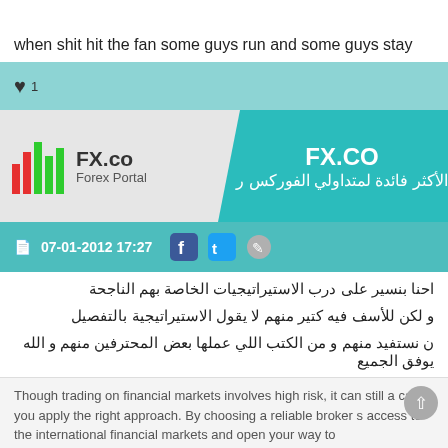when shit hit the fan some guys run and some guys stay
[Figure (screenshot): FX.CO Forex Portal advertisement banner with logo on left (bar chart icon and FX.co Forex Portal text) and Arabic text on teal right panel reading FX.CO and Arabic subtitle]
07-01-2012 17:27
احنا بنسير على درب الاستيراتيجيات الخاصة بهم الناجحة
و لكن للأسف فيه كتير منهم لا يقول الاستيراتيجية بالتفصيل
ن نستفيد منهم و من الكتب اللي عملها بعض المحترفين منهم و الله يوفق الجميع
Though trading on financial markets involves high risk, it can still a case you apply the right approach. By choosing a reliable broker s access to the international financial markets and open your way to